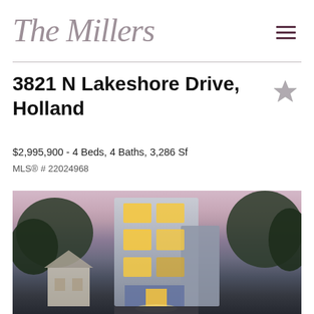The Millers
3821 N Lakeshore Drive, Holland
$2,995,900 - 4 Beds, 4 Baths, 3,286 Sf
MLS® # 22024968
[Figure (photo): Exterior photo of a modern multi-story residential home at dusk with large glass windows illuminated from within, surrounded by trees, against a pink/purple sky]